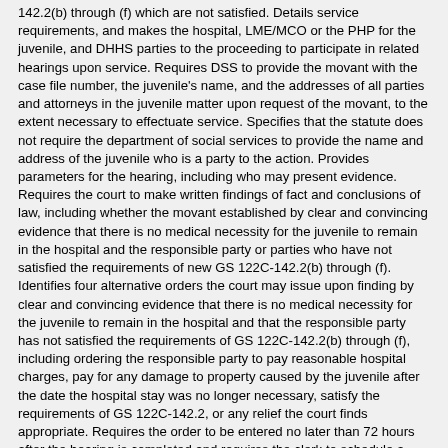142.2(b) through (f) which are not satisfied. Details service requirements, and makes the hospital, LME/MCO or the PHP for the juvenile, and DHHS parties to the proceeding to participate in related hearings upon service. Requires DSS to provide the movant with the case file number, the juvenile's name, and the addresses of all parties and attorneys in the juvenile matter upon request of the movant, to the extent necessary to effectuate service. Specifies that the statute does not require the department of social services to provide the name and address of the juvenile who is a party to the action. Provides parameters for the hearing, including who may present evidence. Requires the court to make written findings of fact and conclusions of law, including whether the movant established by clear and convincing evidence that there is no medical necessity for the juvenile to remain in the hospital and the responsible party or parties who have not satisfied the requirements of new GS 122C-142.2(b) through (f). Identifies four alternative orders the court may issue upon finding by clear and convincing evidence that there is no medical necessity for the juvenile to remain in the hospital and that the responsible party has not satisfied the requirements of GS 122C-142.2(b) through (f), including ordering the responsible party to pay reasonable hospital charges, pay for any damage to property caused by the juvenile after the date the hospital stay was no longer necessary, satisfy the requirements of GS 122C-142.2, or any relief the court finds appropriate. Requires the order to be entered no later than 72 hours after the hearing is completed and requires the clerk to schedule a subsequent hearing for review within 30 days after entry. Requires the motion to be dismissed if the juvenile is removed from the hospital and placed by the director after